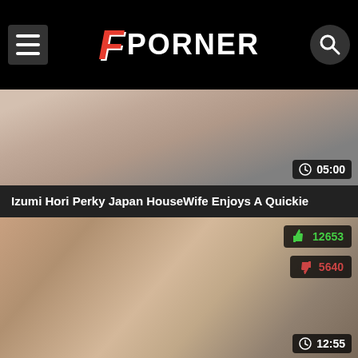FPORNER
[Figure (screenshot): Video thumbnail for Izumi Hori Perky Japan HouseWife Enjoys A Quickie, duration 05:00]
Izumi Hori Perky Japan HouseWife Enjoys A Quickie
[Figure (screenshot): Video thumbnail showing intimate scene, likes 12653, dislikes 5640, duration 12:55]